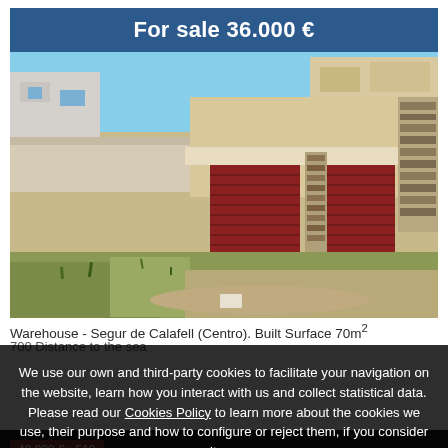For sale 36.000 €
[Figure (photo): Exterior photo of a warehouse building with dark red roller doors, stone-faced facade, green overgrown grass in foreground, blue sky and neighboring buildings visible]
Warehouse - Segur de Calafell (Centro).  Built Surface 70m²
700 Distance to the sea
We use our own and third-party cookies to facilitate your navigation on the website, learn how you interact with us and collect statistical data. Please read our Cookies Policy to learn more about the cookies we use, their purpose and how to configure or reject them, if you consider it so.
Accept all
Manage Cookies
Reject
48.000 € • 510